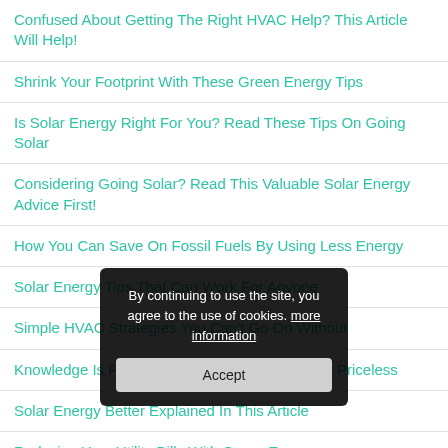Confused About Getting The Right HVAC Help? This Article Will Help!
Shrink Your Footprint With These Green Energy Tips
Is Solar Energy Right For You? Read These Tips On Going Solar
Considering Going Solar? Read This Valuable Solar Energy Advice First!
How You Can Save On Fossil Fuels By Using Less Energy
Solar Energy Tips That Can Work For Anyone
Simple HVAC Strategies You Can't Go On Without
Knowledge Is Power, And These HVAC Tips Are Priceless
Solar Energy Better Explained In This Article
Reducing Your Utility Bills With Green Energy
Great Advice On How To Use Solar Energy
By continuing to use the site, you agree to the use of cookies. more information
Accept